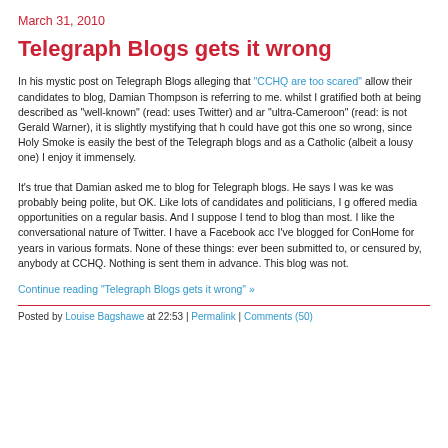March 31, 2010
Telegraph Blogs gets it wrong
In his mystic post on Telegraph Blogs alleging that "CCHQ are too scared" allow their candidates to blog, Damian Thompson is referring to me. whilst I gratified both at being described as "well-known" (read: uses Twitter) and an "ultra-Cameroon" (read: is not Gerald Warner), it is slightly mystifying that h could have got this one so wrong, since Holy Smoke is easily the best of the Telegraph blogs and as a Catholic (albeit a lousy one) I enjoy it immensely.
It's true that Damian asked me to blog for Telegraph blogs. He says I was ke was probably being polite, but OK. Like lots of candidates and politicians, I g offered media opportunities on a regular basis. And I suppose I tend to blog than most. I like the conversational nature of Twitter. I have a Facebook acco I've blogged for ConHome for years in various formats. None of these things ever been submitted to, or censured by, anybody at CCHQ. Nothing is sent them in advance. This blog was not.
Continue reading "Telegraph Blogs gets it wrong" »
Posted by Louise Bagshawe at 22:53 | Permalink | Comments (50)